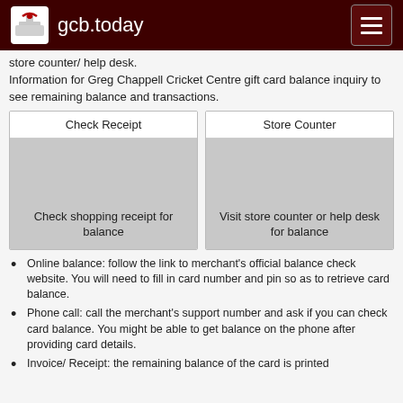gcb.today
store counter/ help desk.
Information for Greg Chappell Cricket Centre gift card balance inquiry to see remaining balance and transactions.
[Figure (infographic): Two cards side by side: 'Check Receipt' with grey image area and caption 'Check shopping receipt for balance'; 'Store Counter' with grey image area and caption 'Visit store counter or help desk for balance']
Online balance: follow the link to merchant's official balance check website. You will need to fill in card number and pin so as to retrieve card balance.
Phone call: call the merchant's support number and ask if you can check card balance. You might be able to get balance on the phone after providing card details.
Invoice/ Receipt: the remaining balance of the card is printed